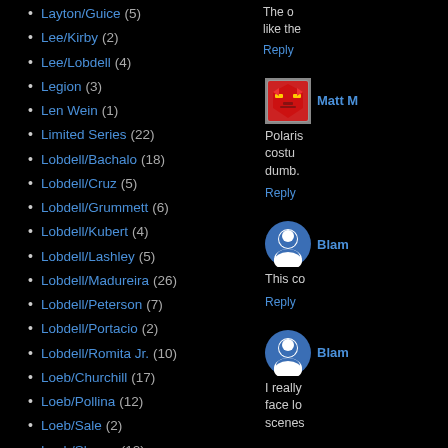Layton/Guice (5)
Lee/Kirby (2)
Lee/Lobdell (4)
Legion (3)
Len Wein (1)
Limited Series (22)
Lobdell/Bachalo (18)
Lobdell/Cruz (5)
Lobdell/Grummett (6)
Lobdell/Kubert (4)
Lobdell/Lashley (5)
Lobdell/Madureira (26)
Lobdell/Peterson (7)
Lobdell/Portacio (2)
Lobdell/Romita Jr. (10)
Loeb/Churchill (17)
Loeb/Pollina (12)
Loeb/Sale (2)
Loeb/Skroce (12)
Lost (62)
Lost Season 5 (5)
Lost Season 6 (18)
The o like the
Reply
Matt M
Polaris costume dumb.
Reply
Blam
This co
Reply
Blam
I really face lo scenes